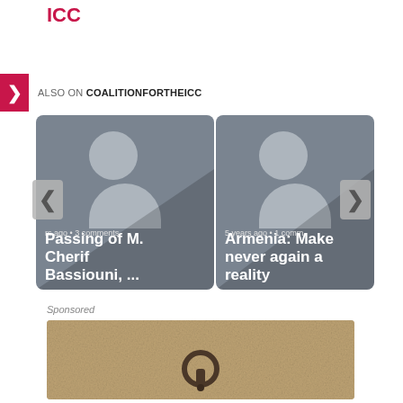ICC
ALSO ON COALITIONFORTHEICC
[Figure (screenshot): Two article preview cards side by side. Left card: placeholder avatar image on grey background, text 'rs ago • 3 comments', bold white title 'Passing of M. Cherif Bassiouni, ...'. Right card: placeholder avatar image on grey background, text '5 years ago • 1 comm', bold white title 'Armenia: Make never again a reality'. Navigation chevron left and right arrows on sides.]
Sponsored
[Figure (photo): Photo of a metal ring/hook embedded in sandy stone or concrete surface, tan/beige tones.]